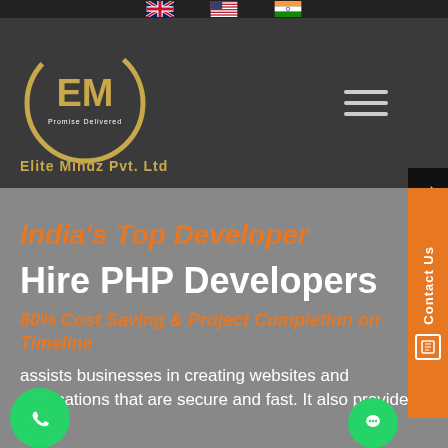Flag icons: UK, US, India
[Figure (logo): Elite Mindz Pvt. Ltd circular gold logo with EM letters and text 'Promise Delivered']
India's Top Developer
Hire PHP Developers
80% Cost Saving & Project Completion on Timeline
assists businesses in creating websites and applications that are secure and fast. It also provides